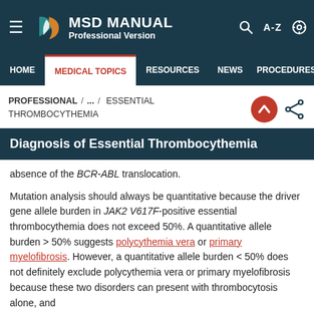MSD MANUAL Professional Version
HOME | MEDICAL TOPICS | RESOURCES | NEWS | PROCEDURES
PROFESSIONAL / ... / ESSENTIAL THROMBOCYTHEMIA
Diagnosis of Essential Thrombocythemia
absence of the BCR-ABL translocation.
Mutation analysis should always be quantitative because the driver gene allele burden in JAK2 V617F-positive essential thrombocythemia does not exceed 50%. A quantitative allele burden > 50% suggests polycythemia vera or primary myelofibrosis. However, a quantitative allele burden < 50% does not definitely exclude polycythemia vera or primary myelofibrosis because these two disorders can present with thrombocytosis alone, and